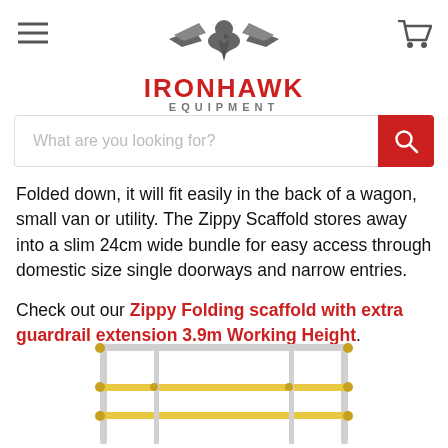[Figure (logo): IronHawk Equipment logo with eagle/hawk graphic in gray, IRONHAWK in red bold caps, EQUIPMENT in gray letter-spaced caps below]
[Figure (screenshot): Search bar with placeholder text 'What are you looking for?' and red search button with magnifying glass icon]
Folded down, it will fit easily in the back of a wagon, small van or utility. The Zippy Scaffold stores away into a slim 24cm wide bundle for easy access through domestic size single doorways and narrow entries.
Check out our Zippy Folding scaffold with extra guardrail extension 3.9m Working Height.
[Figure (photo): Partial photo of a silver/aluminium folding scaffold with yellow horizontal braces, visible in the lower portion of the page]